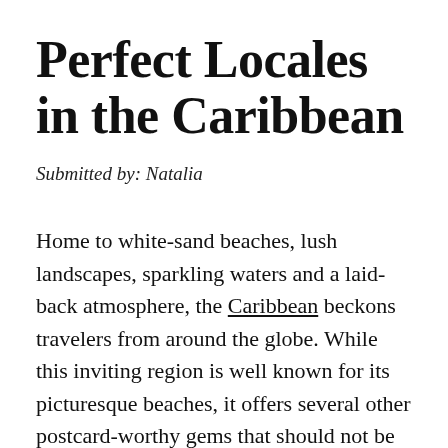Perfect Locales in the Caribbean
Submitted by: Natalia
Home to white-sand beaches, lush landscapes, sparkling waters and a laid-back atmosphere, the Caribbean beckons travelers from around the globe. While this inviting region is well known for its picturesque beaches, it offers several other postcard-worthy gems that should not be overlooked. Read on below as we discuss...